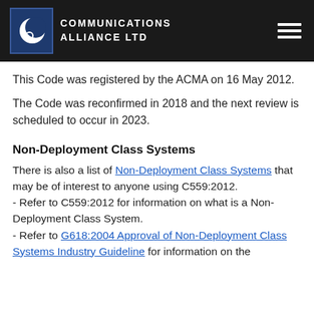COMMUNICATIONS ALLIANCE LTD
This Code was registered by the ACMA on 16 May 2012.
The Code was reconfirmed in 2018 and the next review is scheduled to occur in 2023.
Non-Deployment Class Systems
There is also a list of Non-Deployment Class Systems that may be of interest to anyone using C559:2012.
- Refer to C559:2012 for information on what is a Non-Deployment Class System.
- Refer to G618:2004 Approval of Non-Deployment Class Systems Industry Guideline for information on the